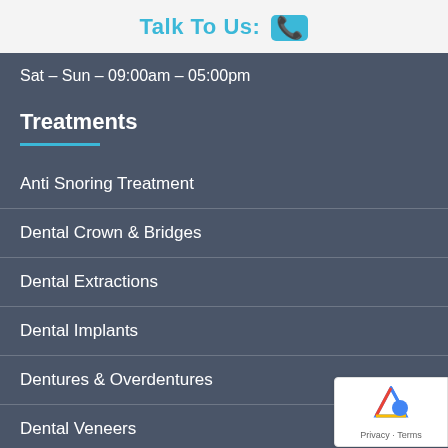Talk To Us:
Sat – Sun – 09:00am – 05:00pm
Treatments
Anti Snoring Treatment
Dental Crown & Bridges
Dental Extractions
Dental Implants
Dentures & Overdentures
Dental Veneers
Gum Disease